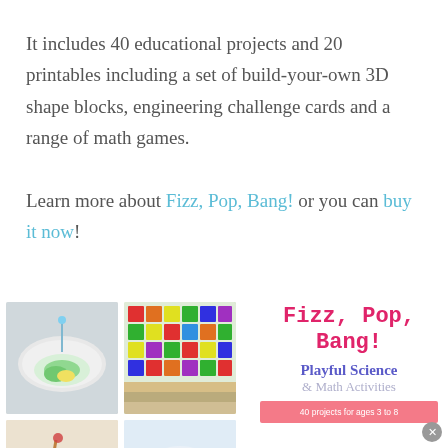It includes 40 educational projects and 20 printables including a set of build-your-own 3D shape blocks, engineering challenge cards and a range of math games.
Learn more about Fizz, Pop, Bang! or you can buy it now!
[Figure (photo): Collage of four photos related to science and math activities, alongside a book cover titled 'Fizz, Pop, Bang! Playful Science & Math Activities']